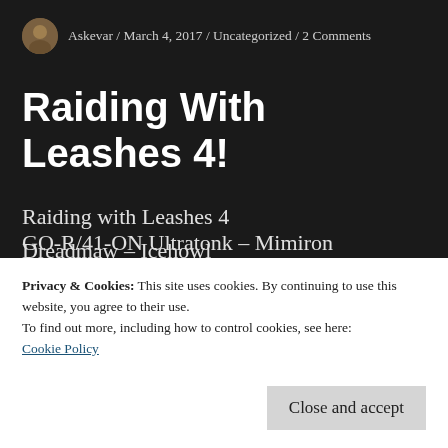Askevar / March 4, 2017 / Uncategorized / 2 Comments
Raiding With Leashes 4!
Raiding with Leashes 4
Dreadmaw – Icehowl
Nerubian Swarmer – Anubarak
Magma Rageling – Ignis
Privacy & Cookies: This site uses cookies. By continuing to use this website, you agree to their use.
To find out more, including how to control cookies, see here: Cookie Policy
GO-R/41-ON Ultratонк – Mimiron